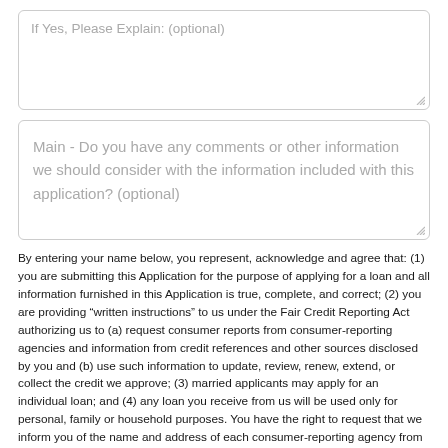If Yes, Please Explain: (optional)
Main - Do you have any comments or other information we should consider with the information included with this application? (optional)
By entering your name below, you represent, acknowledge and agree that: (1) you are submitting this Application for the purpose of applying for a loan and all information furnished in this Application is true, complete, and correct; (2) you are providing “written instructions” to us under the Fair Credit Reporting Act authorizing us to (a) request consumer reports from consumer-reporting agencies and information from credit references and other sources disclosed by you and (b) use such information to update, review, renew, extend, or collect the credit we approve; (3) married applicants may apply for an individual loan; and (4) any loan you receive from us will be used only for personal, family or household purposes. You have the right to request that we inform you of the name and address of each consumer-reporting agency from which we obtain a consumer report on you in connection with this Application. You further acknowledge and agree that typing your name below constitutes your signature